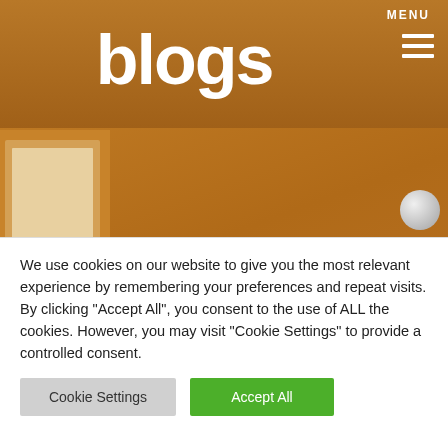MENU
blogs
[Figure (illustration): Wooden table background with cartoon/illustration of a person playing guitar, partially visible on left side with red and cream tones]
Life in a Scottish Wedding Band – Our Journey...
How to find the Perfect Wedding Band
We use cookies on our website to give you the most relevant experience by remembering your preferences and repeat visits. By clicking "Accept All", you consent to the use of ALL the cookies. However, you may visit "Cookie Settings" to provide a controlled consent.
Cookie Settings
Accept All